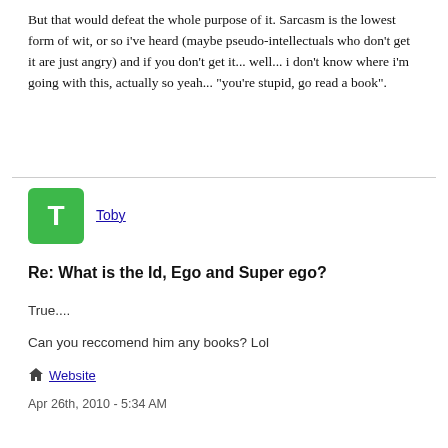But that would defeat the whole purpose of it. Sarcasm is the lowest form of wit, or so i've heard (maybe pseudo-intellectuals who don't get it are just angry) and if you don't get it... well... i don't know where i'm going with this, actually so yeah... "you're stupid, go read a book".
[Figure (other): Green avatar square with white letter T representing user Toby]
Toby
Re: What is the Id, Ego and Super ego?
True....
Can you reccomend him any books? Lol
Website
Apr 26th, 2010 - 5:34 AM